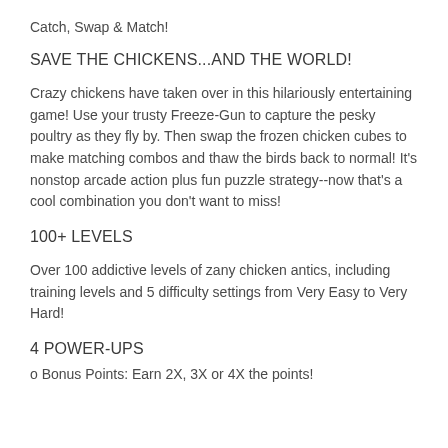Catch, Swap & Match!
SAVE THE CHICKENS...AND THE WORLD!
Crazy chickens have taken over in this hilariously entertaining game! Use your trusty Freeze-Gun to capture the pesky poultry as they fly by. Then swap the frozen chicken cubes to make matching combos and thaw the birds back to normal! It's nonstop arcade action plus fun puzzle strategy--now that's a cool combination you don't want to miss!
100+ LEVELS
Over 100 addictive levels of zany chicken antics, including training levels and 5 difficulty settings from Very Easy to Very Hard!
4 POWER-UPS
o Bonus Points: Earn 2X, 3X or 4X the points!